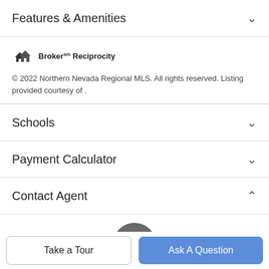Features & Amenities
[Figure (logo): Broker Reciprocity logo with house icon]
© 2022 Northern Nevada Regional MLS. All rights reserved. Listing provided courtesy of .
Schools
Payment Calculator
Contact Agent
[Figure (photo): Circular profile photo of two agents, a woman and a man]
Take a Tour
Ask A Question